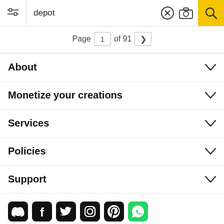depot — Page 1 of 91
About
Monetize your creations
Services
Policies
Support
[Figure (other): Social media icons row: Discord, Facebook, Twitter, Instagram, Pinterest, WhatsApp]
All rights reserved. © Inmagine Lab Pte Ltd 2022.